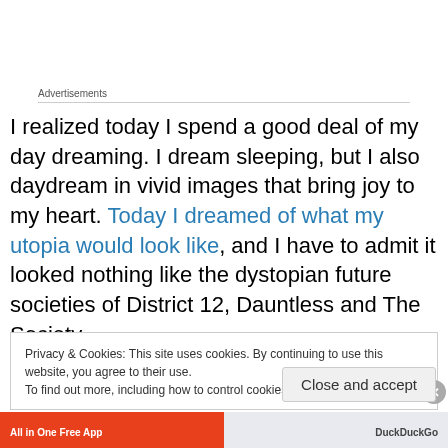Advertisements
I realized today I spend a good deal of my day dreaming. I dream sleeping, but I also daydream in vivid images that bring joy to my heart. Today I dreamed of what my utopia would look like, and I have to admit it looked nothing like the dystopian future societies of District 12, Dauntless and The Society.
Privacy & Cookies: This site uses cookies. By continuing to use this website, you agree to their use.
To find out more, including how to control cookies, see here: Cookie Policy
Close and accept